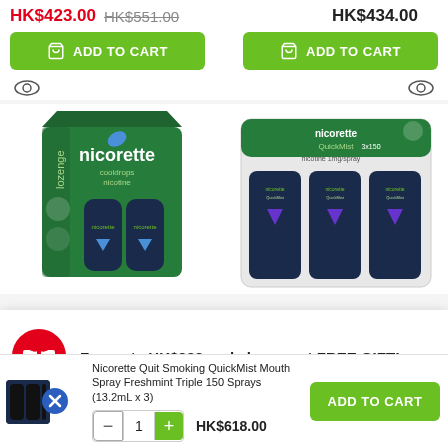HK$423.00 HK$551.00
HK$434.00
ADD TO CART
ADD TO CART
[Figure (photo): Nicorette lozenge cooldrops nicotine product box with two bottles]
[Figure (photo): Nicorette QuickMist nicotine 1mg/spray mouth spray triple pack 3x150]
For carts HK$999 and above, get FREE GIFT!
Nicorette Quit Smoking QuickMist Mouth Spray Freshmint Triple 150 Sprays (13.2mL x 3)
HK$618.00
ADD TO CART